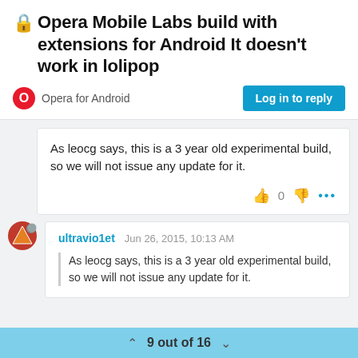🔒Opera Mobile Labs build with extensions for Android It doesn't work in lolipop
Opera for Android
Log in to reply
As leocg says, this is a 3 year old experimental build, so we will not issue any update for it.
ultravio1et  Jun 26, 2015, 10:13 AM
As leocg says, this is a 3 year old experimental build, so we will not issue any update for it.
9 out of 16